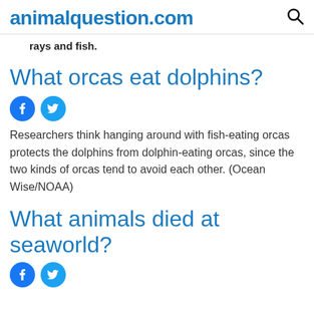animalquestion.com
rays and fish.
What orcas eat dolphins?
[Figure (other): Facebook and Twitter social share icons]
Researchers think hanging around with fish-eating orcas protects the dolphins from dolphin-eating orcas, since the two kinds of orcas tend to avoid each other. (Ocean Wise/NOAA)
What animals died at seaworld?
[Figure (other): Facebook and Twitter social share icons (partially visible)]